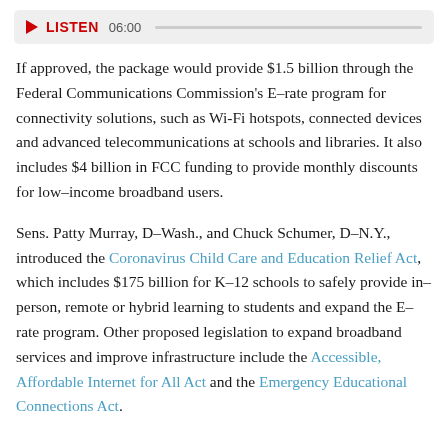[Figure (other): Audio player bar with red play triangle, LISTEN label, time 06:00, and a progress bar]
If approved, the package would provide $1.5 billion through the Federal Communications Commission's E-rate program for connectivity solutions, such as Wi-Fi hotspots, connected devices and advanced telecommunications at schools and libraries. It also includes $4 billion in FCC funding to provide monthly discounts for low-income broadband users.
Sens. Patty Murray, D-Wash., and Chuck Schumer, D-N.Y., introduced the Coronavirus Child Care and Education Relief Act, which includes $175 billion for K-12 schools to safely provide in-person, remote or hybrid learning to students and expand the E-rate program. Other proposed legislation to expand broadband services and improve infrastructure include the Accessible, Affordable Internet for All Act and the Emergency Educational Connections Act.